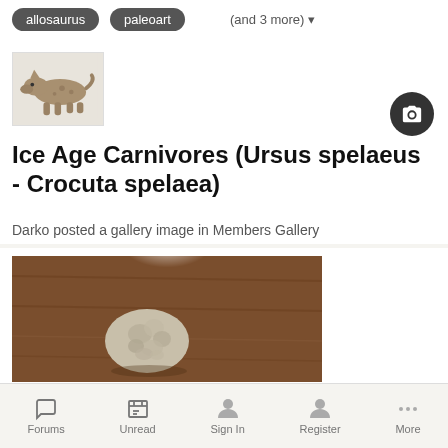allosaurus
paleoart
(and 3 more)
[Figure (photo): Thumbnail image of a spotted hyena (Crocuta) walking left, brown and gray tones]
Ice Age Carnivores (Ursus spelaeus - Crocuta spelaea)
Darko posted a gallery image in Members Gallery
[Figure (photo): Photo of a small white/gray fossilized tooth or bone on a dark wooden surface, with a bright light reflection at top]
Forums  Unread  Sign In  Register  More